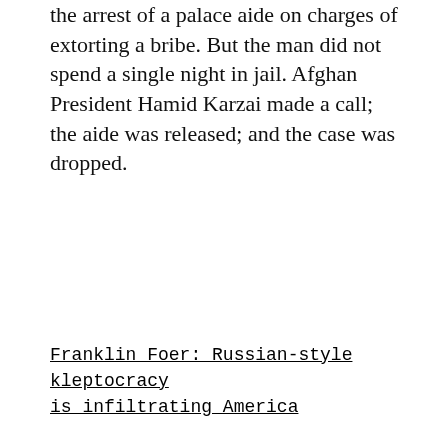the arrest of a palace aide on charges of extorting a bribe. But the man did not spend a single night in jail. Afghan President Hamid Karzai made a call; the aide was released; and the case was dropped.
Franklin Foer: Russian-style kleptocracy is infiltrating America